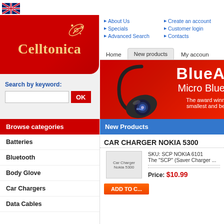[Figure (illustration): UK flag icon in top left corner]
[Figure (logo): Celltonica logo - red rounded rectangle with gold italic text and star/swirl icon]
About Us
Specials
Advanced Search
Create an account
Customer login
Contacts
Home | New products | My account
[Figure (photo): Bluetooth headset advertisement banner on red background with text 'BlueA... Micro Blue... The award winn... smallest and be...']
Search by keyword:
Browse categories
New Products
Batteries
Bluetooth
Body Glove
Car Chargers
Data Cables
CAR CHARGER NOKIA 5300
SKU: SCP NOKIA 6101
The "SCP" (Saver Charger ...
Price: $10.99
[Figure (photo): Car Charger Nokia 5300 product image placeholder]